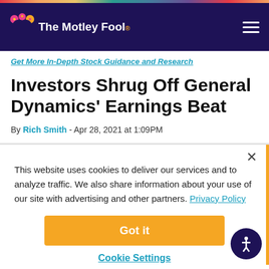The Motley Fool
Get More In-Depth Stock Guidance and Research
Investors Shrug Off General Dynamics' Earnings Beat
By Rich Smith - Apr 28, 2021 at 1:09PM
This website uses cookies to deliver our services and to analyze traffic. We also share information about your use of our site with advertising and other partners. Privacy Policy
Got it
Cookie Settings